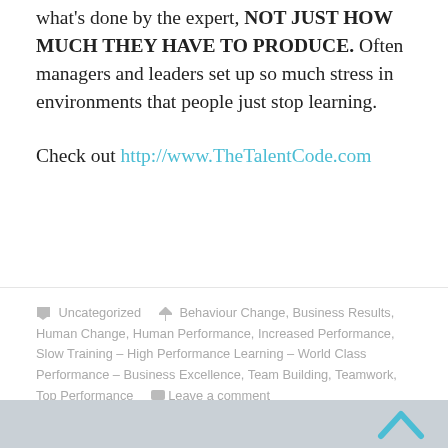what's done by the expert, NOT JUST HOW MUCH THEY HAVE TO PRODUCE. Often managers and leaders set up so much stress in environments that people just stop learning.
Check out http://www.TheTalentCode.com
Uncategorized  Behaviour Change, Business Results, Human Change, Human Performance, Increased Performance, Slow Training – High Performance Learning – World Class Performance – Business Excellence, Team Building, Teamwork, Top Performance  Leave a comment